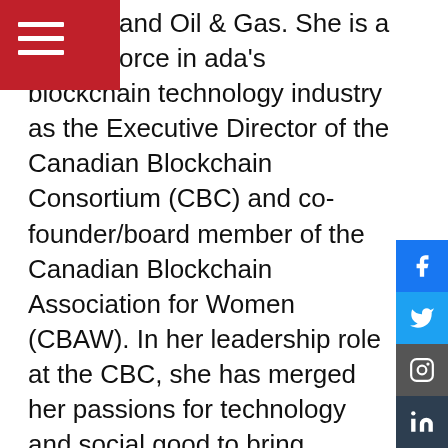[Figure (other): Red navigation bar with hamburger menu icon in white at top left]
ospace and Oil & Gas. She is a driving force in ada's blockchain technology industry as the Executive Director of the Canadian Blockchain Consortium (CBC) and co-founder/board member of the Canadian Blockchain Association for Women (CBAW). In her leadership role at the CBC, she has merged her passions for technology and social good to bring together blockchain companies, corporate leaders, and the government to build the country's largest blockchain ecosystem organization. An influential public speaker, writer, and community volunteer, Koleya strongly believes that uniting diverse voices behind a common goal is the path to creating a fairer, more sustainable, and prosperous nation. Koleya also shares her passion for connecting women in STEAM
[Figure (other): Social media sidebar icons: Facebook (blue), Twitter (light blue), Instagram (dark grey), LinkedIn (dark), YouTube (red)]